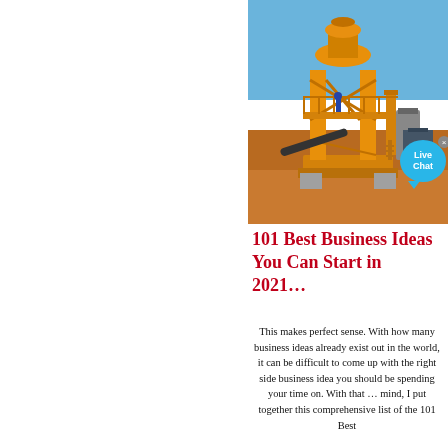[Figure (photo): Yellow industrial mining/crushing machine equipment on a sandy worksite with blue sky background, with a Live Chat bubble overlay in the top-right corner]
101 Best Business Ideas You Can Start in 2021…
This makes perfect sense. With how many business ideas already exist out in the world, it can be difficult to come up with the right side business idea you should be spending your time on. With that … mind, I put together this comprehensive list of the 101 Best